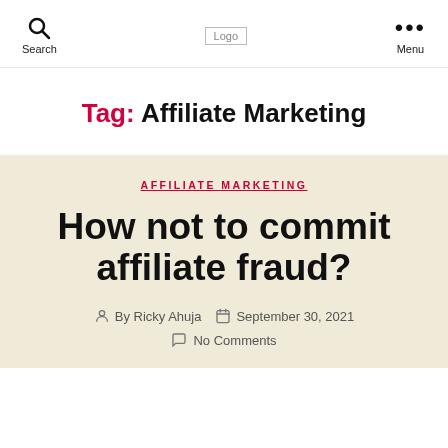Search | Logo | Menu
Tag: Affiliate Marketing
AFFILIATE MARKETING
How not to commit affiliate fraud?
By Ricky Ahuja   September 30, 2021   No Comments